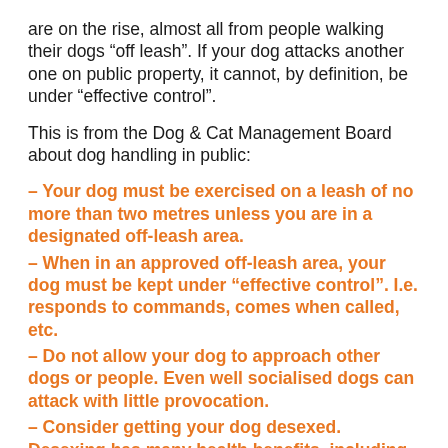are on the rise, almost all from people walking their dogs “off leash”. If your dog attacks another one on public property, it cannot, by definition, be under “effective control”.
This is from the Dog & Cat Management Board about dog handling in public:
– Your dog must be exercised on a leash of no more than two metres unless you are in a designated off-leash area.
– When in an approved off-leash area, your dog must be kept under “effective control”. I.e. responds to commands, comes when called, etc.
– Do not allow your dog to approach other dogs or people. Even well socialised dogs can attack with little provocation.
– Consider getting your dog desexed. Desexing has many health benefits, including reduced